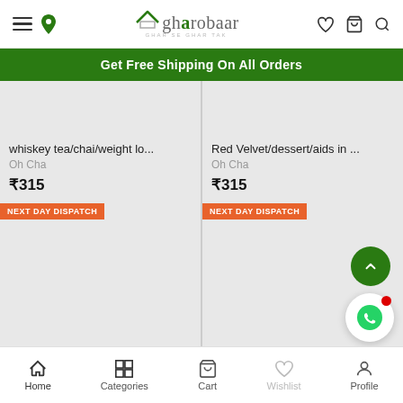[Figure (screenshot): Gharobaar mobile app header with hamburger menu, location pin, logo, heart/cart/search icons]
Get Free Shipping On All Orders
whiskey tea/chai/weight lo...
Oh Cha
₹315
Red Velvet/dessert/aids in ...
Oh Cha
₹315
NEXT DAY DISPATCH
NEXT DAY DISPATCH
[Figure (screenshot): Scroll to top green circular button with up chevron]
[Figure (screenshot): WhatsApp circular button with red notification dot]
[Figure (screenshot): Bottom navigation bar: Home, Categories, Cart, Wishlist, Profile]